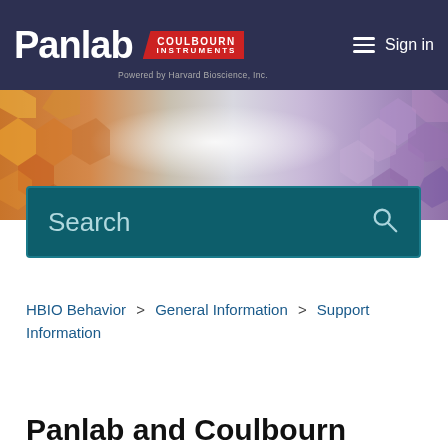Panlab | Coulbourn Instruments — Powered by Harvard Bioscience, Inc. — Sign in
[Figure (illustration): Decorative hero banner with hexagonal abstract shapes in orange/gold on the left and purple/mauve on the right, with a silver/grey center gradient]
Search
HBIO Behavior > General Information > Support Information
Articles in this section
Panlab and Coulbourn Warranty Policy